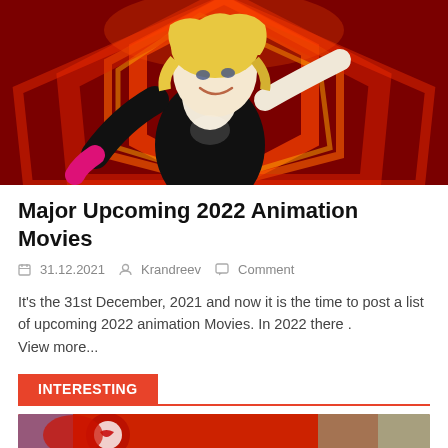[Figure (illustration): Animated illustration of Spider-Gwen (blonde female character in black and white spider costume) against a vivid red and orange hexagonal glowing background]
Major Upcoming 2022 Animation Movies
31.12.2021   Krandreev   Comment
It's the 31st December, 2021 and now it is the time to post a list of upcoming 2022 animation Movies. In 2022 there . View more...
INTERESTING
[Figure (illustration): Partial view of a colorful animated/comic-style illustration with red and other vivid colors, partially cut off at the bottom of the page]